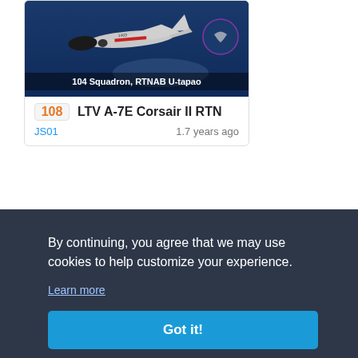[Figure (screenshot): LTV A-7E Corsair II RTN aircraft card with image showing aircraft over ocean with '104 Squadron, RTNAB U-tapao' label]
108  LTV A-7E Corsair II RTN
JS01    1.7 years ago
[Figure (photo): Dark background aircraft model card showing a gray multi-engine aircraft]
By continuing, you agree that we may use cookies to help customize your experience.
Learn more
Got it!
[Figure (photo): Partially visible third card at bottom with green/forest background]